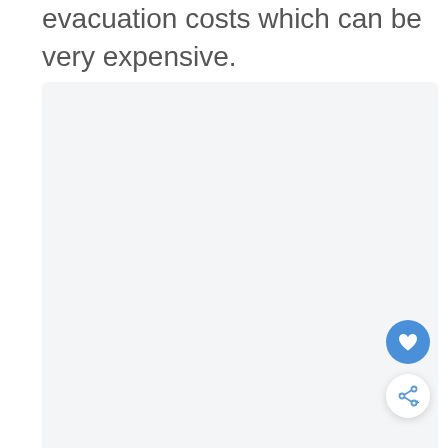evacuation costs which can be very expensive.
[Figure (other): Light gray rectangular content area placeholder]
[Figure (other): Blue circular heart/favorite button icon]
[Figure (other): White circular share button icon with share symbol and plus sign]